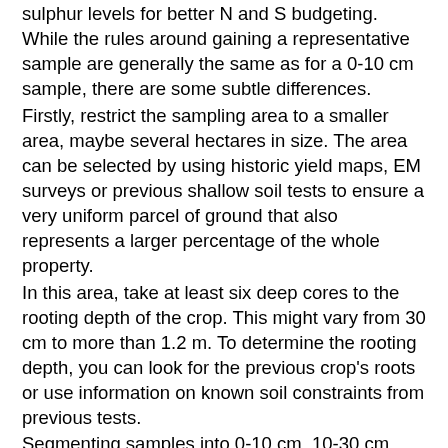sulphur levels for better N and S budgeting.
While the rules around gaining a representative sample are generally the same as for a 0-10 cm sample, there are some subtle differences.
Firstly, restrict the sampling area to a smaller area, maybe several hectares in size. The area can be selected by using historic yield maps, EM surveys or previous shallow soil tests to ensure a very uniform parcel of ground that also represents a larger percentage of the whole property.
In this area, take at least six deep cores to the rooting depth of the crop. This might vary from 30 cm to more than 1.2 m. To determine the rooting depth, you can look for the previous crop's roots or use information on known soil constraints from previous tests.
Segmenting samples into 0-10 cm, 10-30 cm, 30-50 cm and 50-70 cm increments can assist in determining if there are any subsoil constraints and where they reside.
If the testing is purely for nitrogen budgeting, I see no great benefit in segmenting the samples. A single sample, comprising at least six cores, to rooting depth is sufficient.